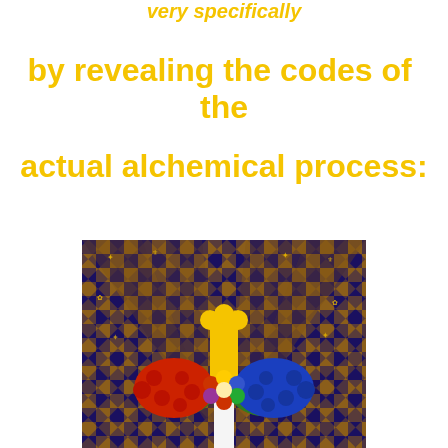very specifically
by revealing the codes of  the
actual alchemical process:
[Figure (illustration): Alchemical illustration showing a stylized cross or scepter with a yellow top piece, red and blue blob-like forms on either side, green leaf shapes, and a decorative checkered background with dark blue and gold-brown diamonds containing small symbolic figures and alchemical symbols.]